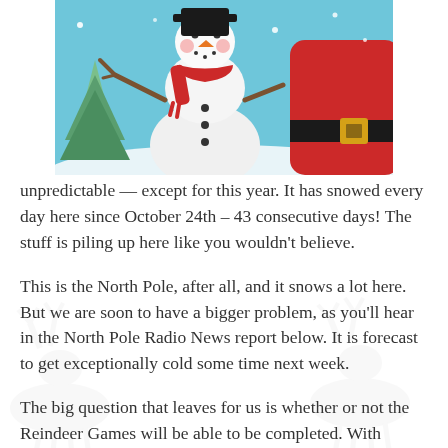[Figure (illustration): Colorful cartoon illustration of a cheerful snowman wearing a red scarf and holding a stick arm, with a Santa Claus figure partially visible on the right side. Snowflakes and a blue winter background.]
unpredictable — except for this year. It has snowed every day here since October 24th – 43 consecutive days! The stuff is piling up here like you wouldn't believe.
This is the North Pole, after all, and it snows a lot here. But we are soon to have a bigger problem, as you'll hear in the North Pole Radio News report below. It is forecast to get exceptionally cold some time next week.
The big question that leaves for us is whether or not the Reindeer Games will be able to be completed. With temperatures expected to bottom